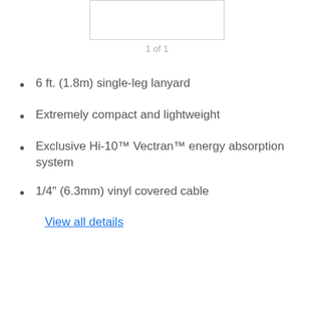[Figure (other): Product image placeholder box]
1 of 1
6 ft. (1.8m) single-leg lanyard
Extremely compact and lightweight
Exclusive Hi-10™ Vectran™ energy absorption system
1/4" (6.3mm) vinyl covered cable
View all details